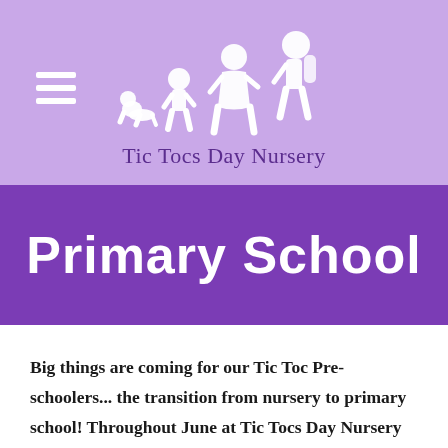[Figure (logo): Tic Tocs Day Nursery logo with silhouettes of children growing from baby to school-age, with hamburger menu icon on left]
Tic Tocs Day Nursery
Primary School
Big things are coming for our Tic Toc Pre-schoolers... the transition from nursery to primary school!  Throughout June at Tic Tocs Day Nursery